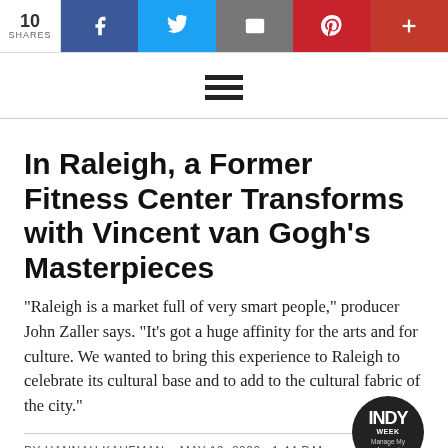10 SHARES | social share bar with Facebook, Twitter, Email, Pinterest, Plus buttons
[Figure (illustration): Hamburger/menu icon — three horizontal black bars centered on white background]
In Raleigh, a Former Fitness Center Transforms with Vincent van Gogh's Masterpieces
“Raleigh is a market full of very smart people,” producer John Zaller says. “It's got a huge affinity for the arts and for culture. We wanted to bring this experience to Raleigh to celebrate its cultural base and to add to the cultural fabric of the city.”
BY HANNAH KAUFMAN   MAY 19, 2022  1:44 P.M.